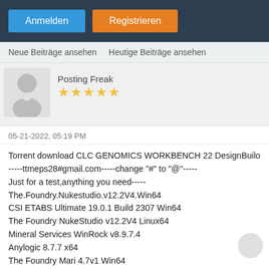Anmelden | Registrieren
Neue Beiträge ansehen   Heutige Beiträge ansehen
Posting Freak ★★★★★
05-21-2022, 05:19 PM
Torrent download CLC GENOMICS WORKBENCH 22 DesignBuild
-----ttmeps28#gmail.com-----change "#" to "@"-----
Just for a test,anything you need-----
The.Foundry.Nukestudio.v12.2V4.Win64
CSI ETABS Ultimate 19.0.1 Build 2307 Win64
The Foundry NukeStudio v12.2V4 Linux64
Mineral Services WinRock v8.9.7.4
Anylogic 8.7.7 x64
The Foundry Mari 4.7v1 Win64
Civil Survey Solutions Civil Site Design v21.10 for Autodesk AutoC